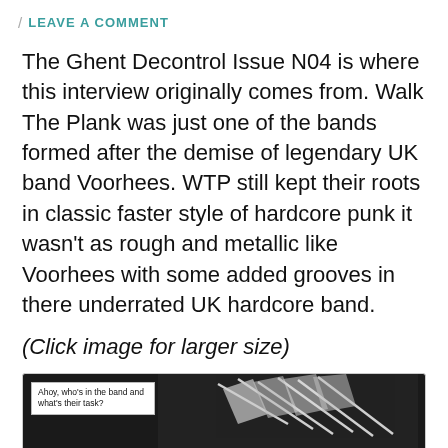/ LEAVE A COMMENT
The Ghent Decontrol Issue N04 is where this interview originally comes from. Walk The Plank was just one of the bands formed after the demise of legendary UK band Voorhees. WTP still kept their roots in classic faster style of hardcore punk it wasn't as rough and metallic like Voorhees with some added grooves in there underrated UK hardcore band.
(Click image for larger size)
[Figure (photo): Black and white scanned zine page showing a text box labeled 'Ahoy, who's in the band and what's their task?' alongside graphic artwork with angular shapes and text.]